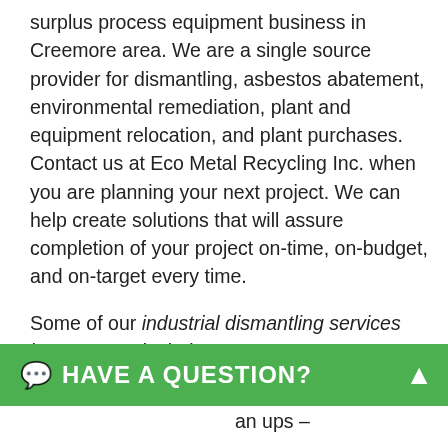surplus process equipment business in Creemore area. We are a single source provider for dismantling, asbestos abatement, environmental remediation, plant and equipment relocation, and plant purchases. Contact us at Eco Metal Recycling Inc. when you are planning your next project. We can help create solutions that will assure completion of your project on-time, on-budget, and on-target every time.
Some of our industrial dismantling services in Creemore include:
Dismantling of large or small equipment
Removal of asbestos
Plant Clean Out
Machinery dismantling and removal
an ups –